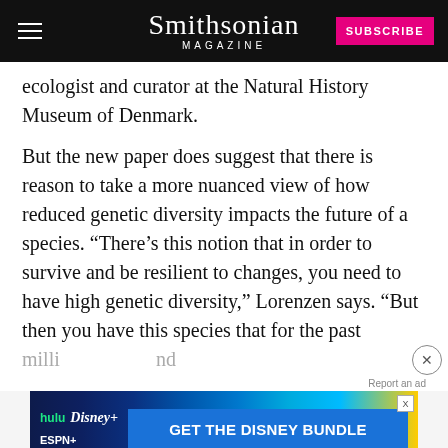Smithsonian MAGAZINE
ecologist and curator at the Natural History Museum of Denmark.
But the new paper does suggest that there is reason to take a more nuanced view of how reduced genetic diversity impacts the future of a species. “There’s this notion that in order to survive and be resilient to changes, you need to have high genetic diversity,” Lorenzen says. “But then you have this species that for the past million [years]... and it’s still... abundant.”
[Figure (screenshot): Disney Bundle advertisement banner with Hulu, Disney+, and ESPN+ logos and GET THE DISNEY BUNDLE call-to-action button]